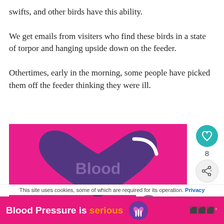swifts, and other birds have this ability.
We get emails from visiters who find these birds in a state of torpor and hanging upside down on the feeder.
Othertimes, early in the morning, some people have picked them off the feeder thinking they were ill.
[Figure (illustration): Pink background with large purple heart shape and text 'Blood Pressure is' in purple/white on the heart. A teal circular like button showing a heart icon, the number 8, and a share icon appear to the right. A 'What's Next' overlay shows European Starlings link with bird thumbnail.]
This site uses cookies, some of which are required for its operation. Privacy
[Figure (infographic): Advertisement banner: pink background with bold white and orange text 'Blood Pressure is serious' with a purple heart logo icon on the right, and a small brand logo on the far right.]